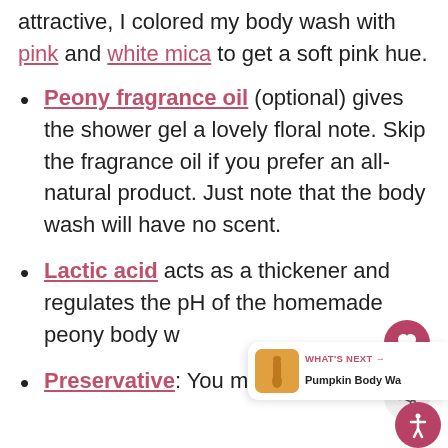attractive, I colored my body wash with pink and white mica to get a soft pink hue.
Peony fragrance oil (optional) gives the shower gel a lovely floral note. Skip the fragrance oil if you prefer an all-natural product. Just note that the body wash will have no scent.
Lactic acid acts as a thickener and regulates the pH of the homemade peony body w[ash...]
Preservative: You must